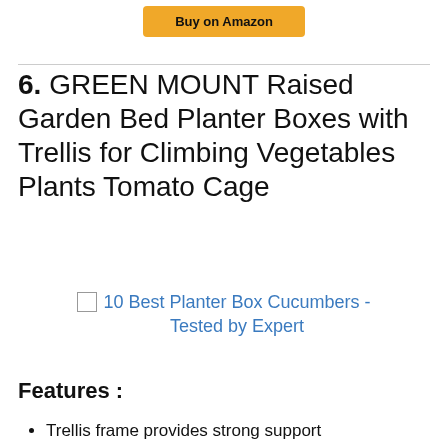[Figure (other): Yellow 'Buy on Amazon' button at top center]
6. GREEN MOUNT Raised Garden Bed Planter Boxes with Trellis for Climbing Vegetables Plants Tomato Cage
[Figure (other): Broken image placeholder with alt text: 10 Best Planter Box Cucumbers - Tested by Expert]
Features :
Trellis frame provides strong support